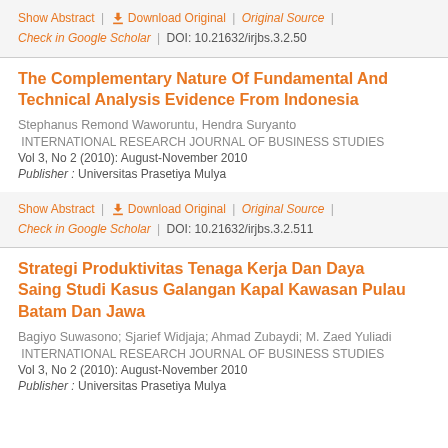Show Abstract | Download Original | Original Source | Check in Google Scholar | DOI: 10.21632/irjbs.3.2.50
The Complementary Nature Of Fundamental And Technical Analysis Evidence From Indonesia
Stephanus Remond Waworuntu, Hendra Suryanto
INTERNATIONAL RESEARCH JOURNAL OF BUSINESS STUDIES
Vol 3, No 2 (2010): August-November 2010
Publisher : Universitas Prasetiya Mulya
Show Abstract | Download Original | Original Source | Check in Google Scholar | DOI: 10.21632/irjbs.3.2.511
Strategi Produktivitas Tenaga Kerja Dan Daya Saing Studi Kasus Galangan Kapal Kawasan Pulau Batam Dan Jawa
Bagiyo Suwasono; Sjarief Widjaja; Ahmad Zubaydi; M. Zaed Yuliadi
INTERNATIONAL RESEARCH JOURNAL OF BUSINESS STUDIES
Vol 3, No 2 (2010): August-November 2010
Publisher : Universitas Prasetiya Mulya